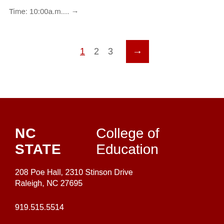Time: 10:00a.m.... →
1  2  3  →
NC STATE  College of Education
208 Poe Hall, 2310 Stinson Drive
Raleigh, NC 27695
919.515.5514